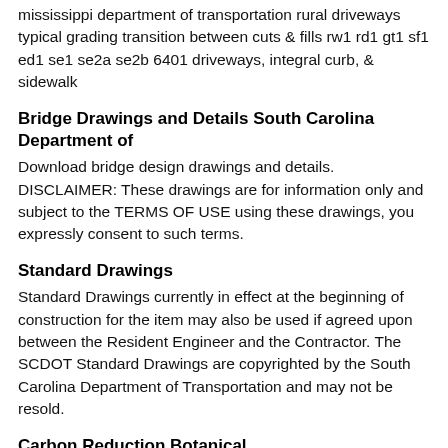mississippi department of transportation rural driveways typical grading transition between cuts & fills rw1 rd1 gt1 sf1 ed1 se1 se2a se2b 6401 driveways, integral curb, & sidewalk
Bridge Drawings and Details South Carolina Department of
Download bridge design drawings and details. DISCLAIMER: These drawings are for information only and subject to the TERMS OF USE using these drawings, you expressly consent to such terms.
Standard Drawings
Standard Drawings currently in effect at the beginning of construction for the item may also be used if agreed upon between the Resident Engineer and the Contractor. The SCDOT Standard Drawings are copyrighted by the South Carolina Department of Transportation and may not be resold.
Carbon Reduction Botanical